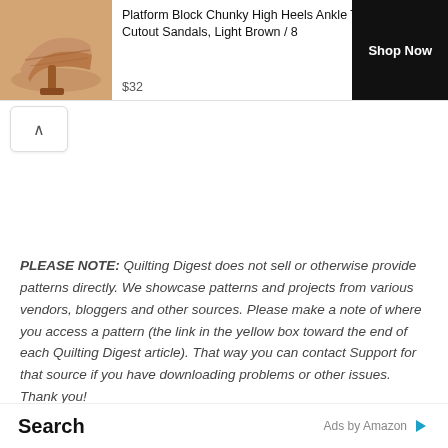[Figure (photo): Advertisement banner showing a chunky high heel sandal shoe in light brown, with product title, price $32, and Shop Now button]
PLEASE NOTE: Quilting Digest does not sell or otherwise provide patterns directly. We showcase patterns and projects from various vendors, bloggers and other sources. Please make a note of where you access a pattern (the link in the yellow box toward the end of each Quilting Digest article). That way you can contact Support for that source if you have downloading problems or other issues. Thank you!
Search
Ads by Amazon